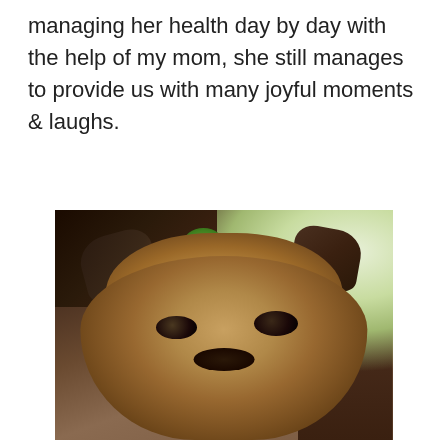managing her health day by day with the help of my mom, she still manages to provide us with many joyful moments & laughs.
[Figure (photo): Close-up photo of a small fluffy dog (appears to be a Brussels Griffon or similar breed) with tan/brown wiry fur, large dark eyes, and a flat face, looking directly at the camera. The dog is indoors with a dark entertainment unit/TV visible in the background upper left, a green plant, a colorful toy, and a bright window/door on the right side.]